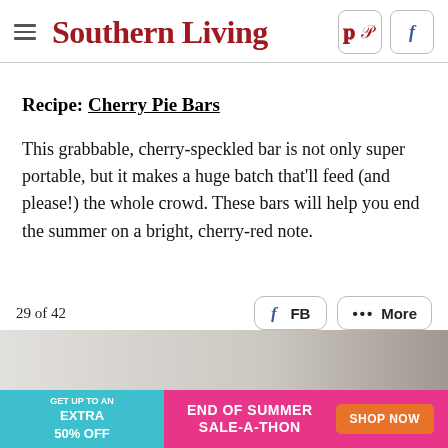Southern Living
Recipe: Cherry Pie Bars
This grabbable, cherry-speckled bar is not only super portable, but it makes a huge batch that'll feed (and please!) the whole crowd. These bars will help you end the summer on a bright, cherry-red note.
29 of 42
[Figure (photo): Partial photo of cherry pie bars on a surface, partially visible at bottom of page]
[Figure (infographic): Advertisement banner: GET UP TO AN EXTRA 50% OFF - END OF SUMMER SALE-A-THON - SHOP NOW button]